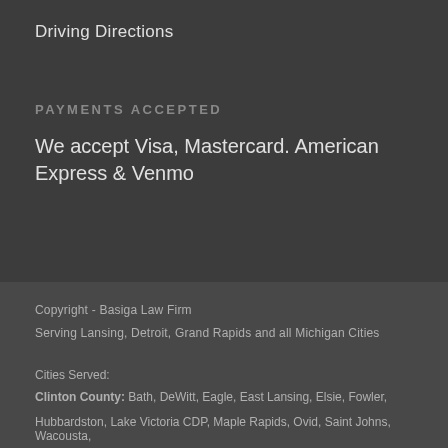Driving Directions
PAYMENTS ACCEPTED
We accept Visa, Mastercard. American Express & Venmo
Copyright - Basiga Law Firm
Serving Lansing, Detroit, Grand Rapids and all Michigan Cities
Cities Served:
Clinton County: Bath, DeWitt, Eagle, East Lansing, Elsie, Fowler,
Hubbardston, Lake Victoria CDP, Maple Rapids, Ovid, Saint Johns, Wacousta,